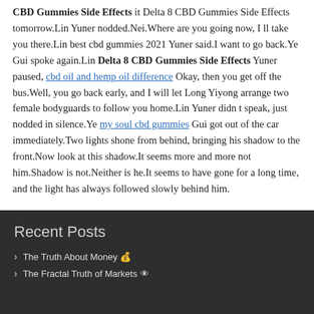CBD Gummies Side Effects it Delta 8 CBD Gummies Side Effects tomorrow.Lin Yuner nodded.Nei.Where are you going now, I ll take you there.Lin best cbd gummies 2021 Yuner said.I want to go back.Ye Gui spoke again.Lin Delta 8 CBD Gummies Side Effects Yuner paused, cbd oil and hemp oil difference Okay, then you get off the bus.Well, you go back early, and I will let Long Yiyong arrange two female bodyguards to follow you home.Lin Yuner didn t speak, just nodded in silence.Ye my soul cbd gummies Gui got out of the car immediately.Two lights shone from behind, bringing his shadow to the front.Now look at this shadow.It seems more and more not him.Shadow is not.Neither is he.It seems to have gone for a long time, and the light has always followed slowly behind him.
Recent Posts
The Truth About Money 💰
The Fractal Truth of Markets 👁